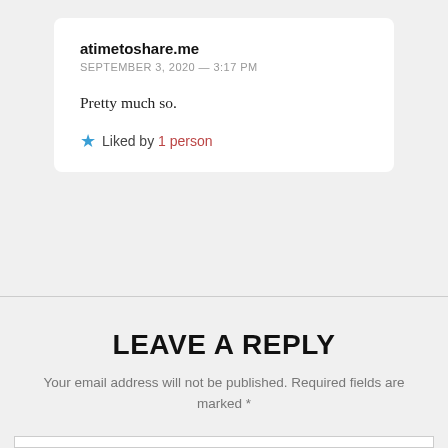atimetoshare.me
SEPTEMBER 3, 2020 — 3:17 PM
Pretty much so.
Liked by 1 person
LEAVE A REPLY
Your email address will not be published. Required fields are marked *
Comment *